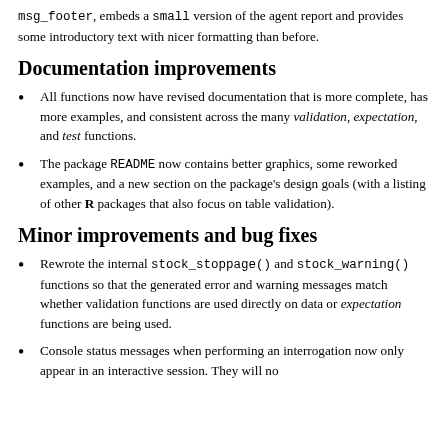msg_footer, embeds a `small` version of the agent report and provides some introductory text with nicer formatting than before.
Documentation improvements
All functions now have revised documentation that is more complete, has more examples, and consistent across the many validation, expectation, and test functions.
The package README now contains better graphics, some reworked examples, and a new section on the package's design goals (with a listing of other R packages that also focus on table validation).
Minor improvements and bug fixes
Rewrote the internal stock_stoppage() and stock_warning() functions so that the generated error and warning messages match whether validation functions are used directly on data or expectation functions are being used.
Console status messages when performing an interrogation now only appear in an interactive session. They will no longer appear during R Markdown rendering and other...